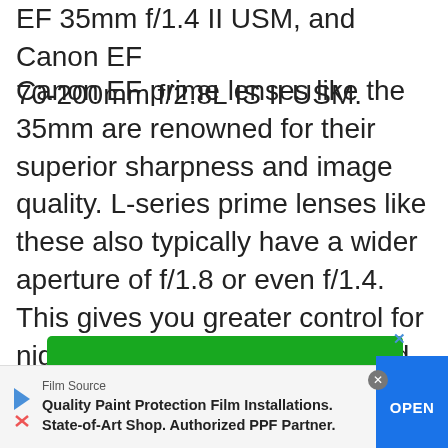EF 35mm f/1.4 II USM, and Canon EF 70-200mm f/2.8L IS II USM.
Canon EF prime lenses like the 35mm are renowned for their superior sharpness and image quality. L-series prime lenses like these also typically have a wider aperture of f/1.8 or even f/1.4. This gives you greater control for night-time car photography, and to control the depth of field.
[Figure (other): Green advertisement banner with X close button in upper right corner]
Film Source
Quality Paint Protection Film Installations. State-of-Art Shop. Authorized PPF Partner.